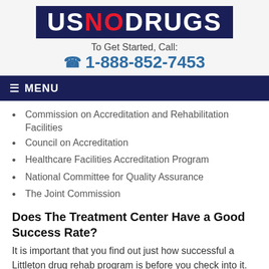[Figure (logo): USNODRUGS logo — dark navy background rectangle with white text 'US', red text 'NO', white text 'DRUGS' in bold block letters]
To Get Started, Call:
☎ 1-888-852-7453
≡ MENU
Commission on Accreditation and Rehabilitation Facilities
Council on Accreditation
Healthcare Facilities Accreditation Program
National Committee for Quality Assurance
The Joint Commission
Does The Treatment Center Have a Good Success Rate?
It is important that you find out just how successful a Littleton drug rehab program is before you check into it. The experience of the staff, the reputation of the center, as well as its success rates both in the past and in the present can be a good starting point to finding the right rehab for you.